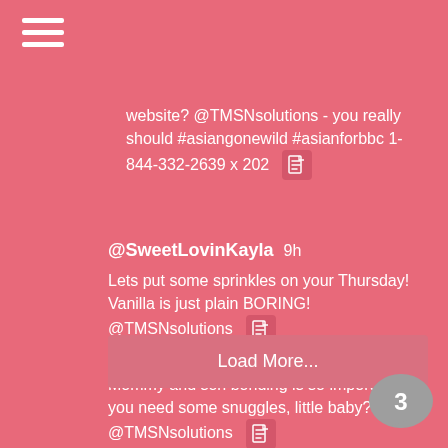[Figure (other): Hamburger menu icon (three white horizontal lines)]
website? @TMSNsolutions - you really should #asiangonewild #asianforbbc 1-844-332-2639 x 202 [doc icon]
@SweetLovinKayla 9h
Lets put some sprinkles on your Thursday! Vanilla is just plain BORING! @TMSNsolutions [doc icon]
@FeistyFelicityA 9h
Mommy and son bonding is so important. Do you need some snuggles, little baby? @TMSNsolutions [doc icon]
Load More...
[Figure (other): Gray speech bubble with number 3 inside]